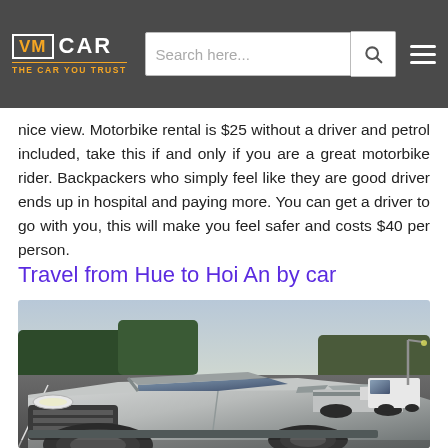VM CAR — THE CAR YOU TRUST | Search here...
nice view. Motorbike rental is $25 without a driver and petrol included, take this if and only if you are a great motorbike rider. Backpackers who simply feel like they are good driver ends up in hospital and paying more. You can get a driver to go with you, this will make you feel safer and costs $40 per person.
Travel from Hue to Hoi An by car
[Figure (photo): A line of SUVs and vehicles driving on a road, photographed from a low angle near the front of a silver Toyota Fortuner, with trees and sky in the background.]